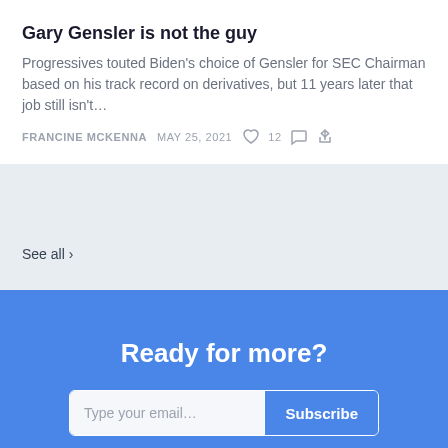Gary Gensler is not the guy
Progressives touted Biden’s choice of Gensler for SEC Chairman based on his track record on derivatives, but 11 years later that job still isn’t…
FRANCINE MCKENNA   MAY 25, 2021   ♡ 12
See all ›
Ready for more?
Type your email…   Subscribe